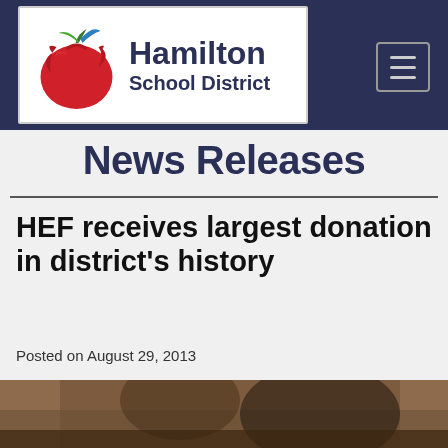[Figure (logo): Hamilton School District logo with red apple graphic and text]
News Releases
HEF receives largest donation in district's history
Posted on August 29, 2013
[Figure (photo): Partial photo at bottom of page, brown/warm tones showing a person]